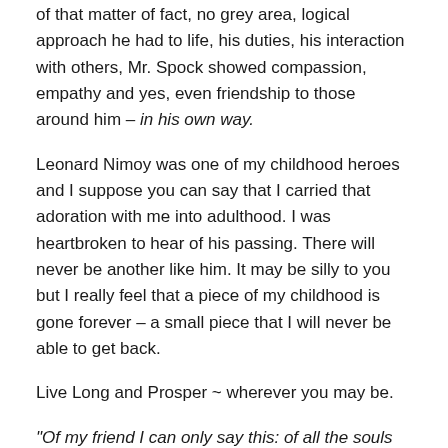of that matter of fact, no grey area, logical approach he had to life, his duties, his interaction with others, Mr. Spock showed compassion, empathy and yes, even friendship to those around him – in his own way.
Leonard Nimoy was one of my childhood heroes and I suppose you can say that I carried that adoration with me into adulthood. I was heartbroken to hear of his passing. There will never be another like him. It may be silly to you but I really feel that a piece of my childhood is gone forever – a small piece that I will never be able to get back.
Live Long and Prosper ~ wherever you may be.
“Of my friend I can only say this: of all the souls that I met on my travels, his was the most… human.”  ~ James T. Kirk